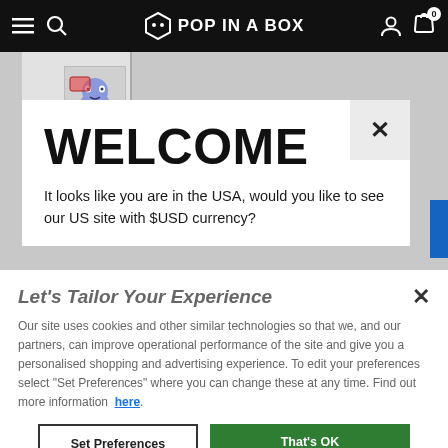Pop In A Box - navigation bar with menu, search, logo, account, cart (0)
[Figure (screenshot): Pop In A Box website background showing a product thumbnail image of a blue cartoon genie figure]
WELCOME
It looks like you are in the USA, would you like to see our US site with $USD currency?
Let's Tailor Your Experience
Our site uses cookies and other similar technologies so that we, and our partners, can improve operational performance of the site and give you a personalised shopping and advertising experience. To edit your preferences select "Set Preferences" where you can change these at any time. Find out more information here.